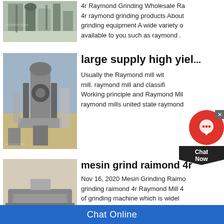[Figure (photo): Industrial grinding/milling plant facility with silos and pipes]
4r Raymond Grinding Wholesale Ra... 4r raymond grinding products About grinding equipment A wide variety o... available to you such as raymond ...
[Figure (photo): Raymond mill machine industrial equipment outdoors]
large supply high yiel...
Usually the Raymond mill wit... mill. raymond mill and classifi... Working principle and Raymond Mil... raymond mills united state raymond...
[Figure (photo): Mobile crushing/grinding machine with gravel pile]
mesin grind raimond 4r
Nov 16, 2020 Mesin Grinding Raimo... grinding raimond 4r Raymond Mill 4 of grinding machine which is widel...
Chat Online